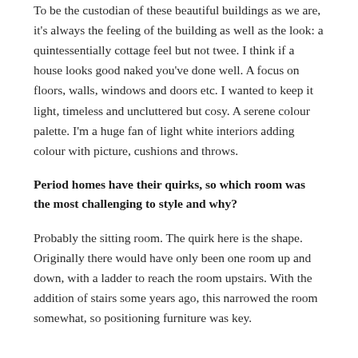To be the custodian of these beautiful buildings as we are, it's always the feeling of the building as well as the look: a quintessentially cottage feel but not twee. I think if a house looks good naked you've done well. A focus on floors, walls, windows and doors etc. I wanted to keep it light, timeless and uncluttered but cosy. A serene colour palette. I'm a huge fan of light white interiors adding colour with picture, cushions and throws.
Period homes have their quirks, so which room was the most challenging to style and why?
Probably the sitting room. The quirk here is the shape. Originally there would have only been one room up and down, with a ladder to reach the room upstairs. With the addition of stairs some years ago, this narrowed the room somewhat, so positioning furniture was key.